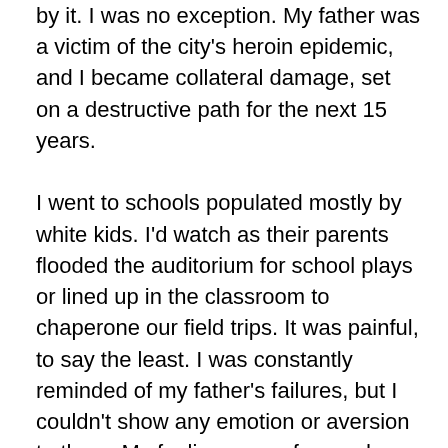by it. I was no exception. My father was a victim of the city's heroin epidemic, and I became collateral damage, set on a destructive path for the next 15 years.

I went to schools populated mostly by white kids. I'd watch as their parents flooded the auditorium for school plays or lined up in the classroom to chaperone our field trips. It was painful, to say the least. I was constantly reminded of my father's failures, but I couldn't show any emotion or aversion to them. My feelings were frowned upon by my peers, but mainly by teachers and school administrators. To them, I was just another black kid trying to play victim. Treated like a derelict, I grew